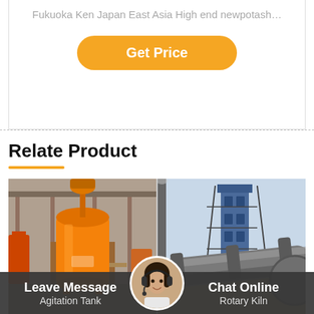Fukuoka Ken Japan East Asia High end newpotash…
Get Price
Relate Product
[Figure (photo): Orange agitation tank / mixing tank in an industrial factory warehouse setting]
[Figure (photo): Rotary kiln industrial equipment outdoors with metal structure and pipes]
Leave Message
Agitation Tank
Chat Online
Rotary Kiln